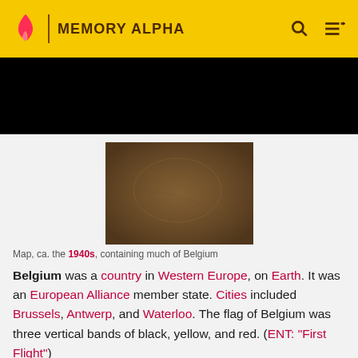MEMORY ALPHA
[Figure (screenshot): Black banner/hero area below the Memory Alpha header]
[Figure (map): A sepia-toned antique map, ca. the 1940s, containing much of Belgium]
Map, ca. the 1940s, containing much of Belgium
Belgium was a country in Western Europe, on Earth. It was an European Alliance member state. Cities included Brussels, Antwerp, and Waterloo. The flag of Belgium was three vertical bands of black, yellow, and red. (ENT: "First Flight")